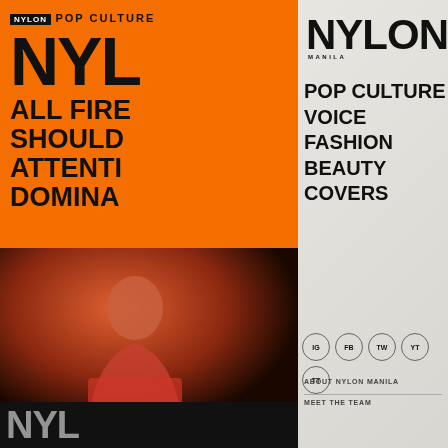[Figure (screenshot): Left panel: orange magazine cover section showing 'NYL' large text, 'POP CULTURE' tag, partial text 'ALL FIRE', 'SHOULD', 'ATTENTI', 'DOMINA', squiggle line, and bottom photo of man in red knit cardigan with black nylon bar at bottom]
NYLON MANILA
POP CULTURE
VOICE
FASHION
BEAUTY
COVERS
IG  FB  TW  YT  TT
ABOUT NYLON MANILA